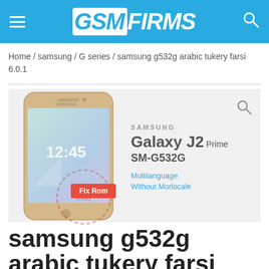GSM FIRMS
Home / samsung / G series / samsung g532g arabic tukery farsi 6.0.1
[Figure (photo): Samsung Galaxy J2 Prime SM-G532G smartphone product image with Fix Rom badge overlay, showing multilanguage without morlocale text]
samsung g532g arabic tukery farsi